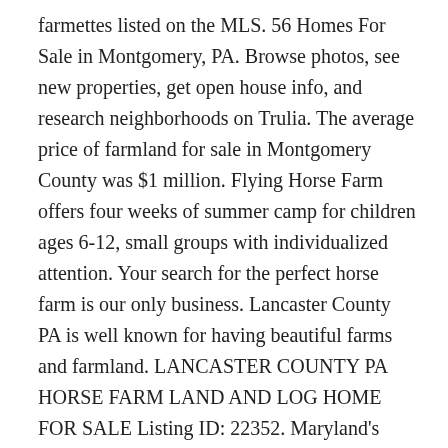farmettes listed on the MLS. 56 Homes For Sale in Montgomery, PA. Browse photos, see new properties, get open house info, and research neighborhoods on Trulia. The average price of farmland for sale in Montgomery County was $1 million. Flying Horse Farm offers four weeks of summer camp for children ages 6-12, small groups with individualized attention. Your search for the perfect horse farm is our only business. Lancaster County PA is well known for having beautiful farms and farmland. LANCASTER COUNTY PA HORSE FARM LAND AND LOG HOME FOR SALE Listing ID: 22352. Maryland's Montgomery County has around 2,000 acres of farms for sale based on recent Lands of America data. Join us for Riding Camp, Summer 2020! For Sale--Greystone Riding Academy, Batavia, IL. Phillis Maniglia is an expert in horse farms for sale in Florida within the equestrian communities of Loxahatchee and Wellington, ... equine and agricultural properties in Loxahatchee Groves and the